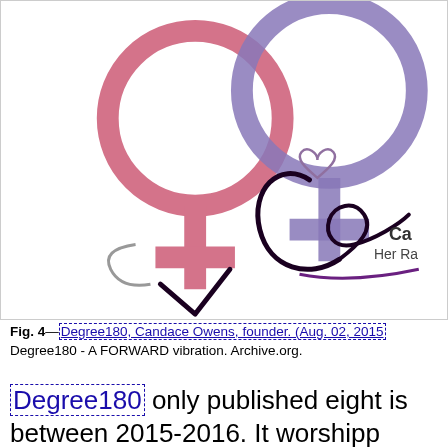[Figure (illustration): Degree180 website screenshot/logo showing two interlocked gender symbols (female, pink and purple) and a cursive signature reading 'Candee' with text 'Ca... Her Ra...' partially visible]
Fig. 4—Degree180, Candace Owens, founder. (Aug. 02, 2015). Degree180 - A FORWARD vibration. Archive.org.
Degree180 only published eight is... between 2015-2016. It worshipp...